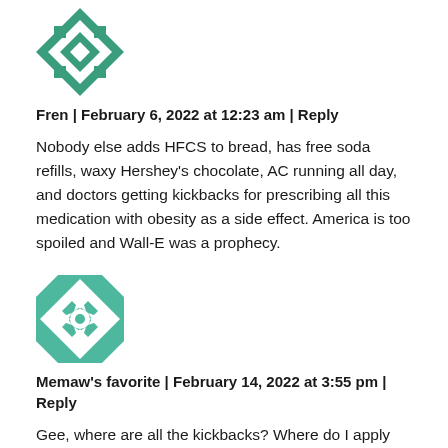[Figure (illustration): Green and white quilt-pattern avatar icon for user Fren]
Fren | February 6, 2022 at 12:23 am | Reply
Nobody else adds HFCS to bread, has free soda refills, waxy Hershey's chocolate, AC running all day, and doctors getting kickbacks for prescribing all this medication with obesity as a side effect. America is too spoiled and Wall-E was a prophecy.
[Figure (illustration): Teal and white quilt-pattern avatar icon for user Memaw's favorite]
Memaw's favorite | February 14, 2022 at 3:55 pm | Reply
Gee, where are all the kickbacks? Where do I apply for these kickbacks of which you speak?